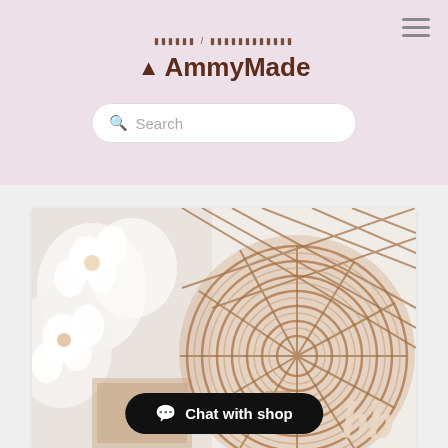▲ AmmyMade
Search
[Figure (photo): Close-up photo of a wicker/rattan basket with cotton flowers and a wooden monogram letter decoration, soft neutral tones]
Chat with shop